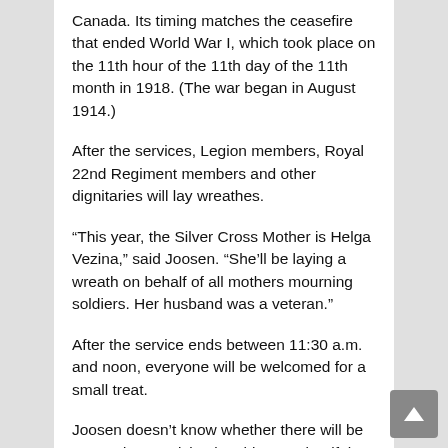Canada. Its timing matches the ceasefire that ended World War I, which took place on the 11th hour of the 11th day of the 11th month in 1918. (The war began in August 1914.)
After the services, Legion members, Royal 22nd Regiment members and other dignitaries will lay wreathes.
“This year, the Silver Cross Mother is Helga Vezina,” said Joosen. “She’ll be laying a wreath on behalf of all mothers mourning soldiers. Her husband was a veteran.”
After the service ends between 11:30 a.m. and noon, everyone will be welcomed for a small treat.
Joosen doesn’t know whether there will be any cadets participating this year, but if they do,